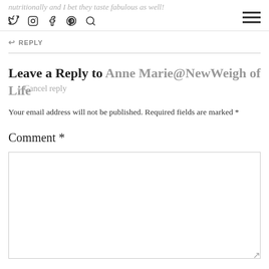nutritionally and I bet they taste fabulous as well!
↩ REPLY
Leave a Reply to Anne Marie@NewWeigh of Life
↵ Cancel reply
Your email address will not be published. Required fields are marked *
Comment *